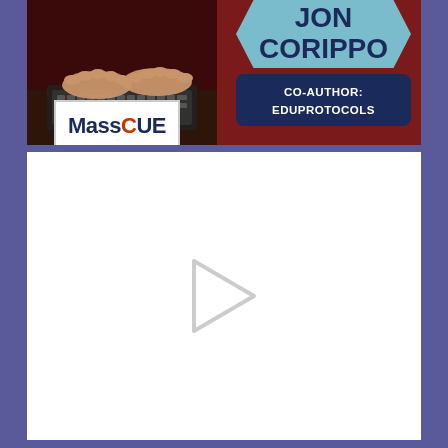[Figure (photo): Promotional banner for Jon Corippo, Co-Author of EduProtocols, featuring a photo of hands on a laptop, a light blue hexagon name badge with 'JON CORIPPO', a dark blue badge reading 'CO-AUTHOR: EDUPROTOCOLS', and the MassCUE logo on a dark red background.]
[Figure (screenshot): White video player area with a play button triangle icon in the center, representing an embedded video player.]